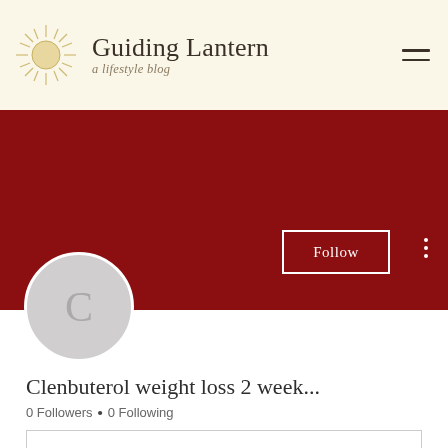Guiding Lantern — a lifestyle blog
[Figure (screenshot): Dark red banner background for blog profile page]
Follow
[Figure (illustration): Circular avatar placeholder with letter C]
Clenbuterol weight loss 2 week...
0 Followers • 0 Following
Profile